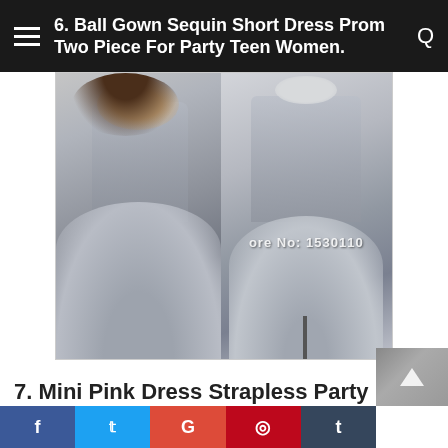6. Ball Gown Sequin Short Dress Prom Two Piece For Party Teen Women.
[Figure (photo): Two views of a two-piece sequin ball gown short dress in gray/silver: left shows a woman wearing the dress, right shows the dress on a mannequin. Watermark reads 'Store No: 1530110'.]
7. Mini Pink Dress Strapless Party Short For Women Ball Gowns Dress.